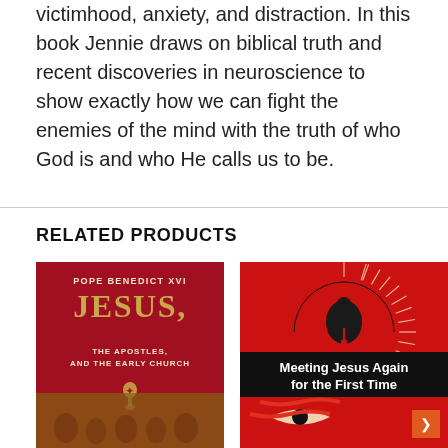victimhood, anxiety, and distraction. In this book Jennie draws on biblical truth and recent discoveries in neuroscience to show exactly how we can fight the enemies of the mind with the truth of who God is and who He calls us to be.
RELATED PRODUCTS
[Figure (photo): Book cover: Pope Benedict XVI - Jesus, The Apostles, and the Early Church. Red background with gold lettering and a papal emblem, with figures at the bottom.]
[Figure (photo): Book cover: Meeting Jesus Again for the First Time. Red background with a stylized sun/halo graphic, black banner with white title text, and abstract face imagery at the bottom.]